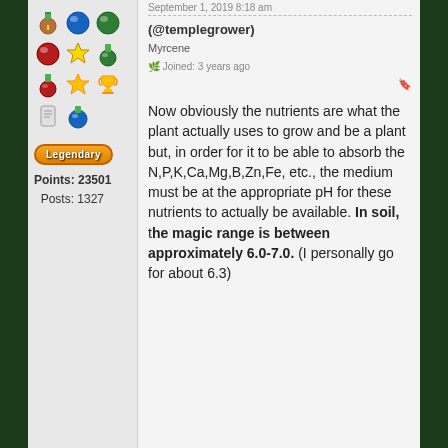September 1, 2019 8:18 am
(@templegrower)
Myrcene
🌿 Joined: 3 years ago
[Figure (illustration): User profile badges: multiple colored medal and trophy icons arranged in rows]
[Figure (illustration): Legendary badge button (orange rounded rectangle with 'Legendary' text)]
Points: 23501
Posts: 1327
Now obviously the nutrients are what the plant actually uses to grow and be a plant but, in order for it to be able to absorb the N,P,K,Ca,Mg,B,Zn,Fe, etc., the medium must be at the appropriate pH for these nutrients to actually be available. In soil, the magic range is between approximately 6.0-7.0. (I personally go for about 6.3)